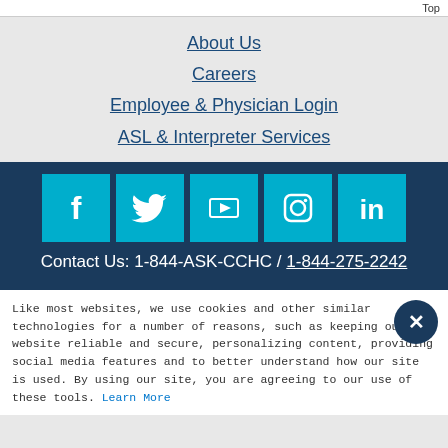Top
About Us
Careers
Employee & Physician Login
ASL & Interpreter Services
[Figure (infographic): Social media icons: Facebook, Twitter, YouTube, Instagram, LinkedIn on teal/cyan square backgrounds over dark navy background]
Contact Us: 1-844-ASK-CCHC / 1-844-275-2242
Like most websites, we use cookies and other similar technologies for a number of reasons, such as keeping our website reliable and secure, personalizing content, providing social media features and to better understand how our site is used. By using our site, you are agreeing to our use of these tools. Learn More